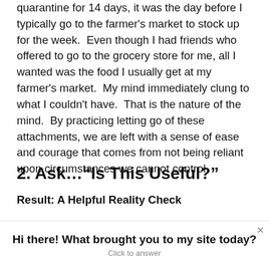quarantine for 14 days, it was the day before I typically go to the farmer's market to stock up for the week. Even though I had friends who offered to go to the grocery store for me, all I wanted was the food I usually get at my farmer's market. My mind immediately clung to what I couldn't have. That is the nature of the mind. By practicing letting go of these attachments, we are left with a sense of ease and courage that comes from not being reliant upon circumstances we cannot control.
2. Ask…“Is This Useful?”
Result: A Helpful Reality Check
—
Hi there! What brought you to my site today? Click to answer